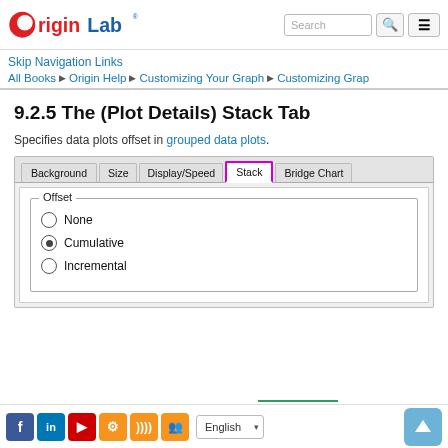OriginLab [logo] | Search | menu
Skip Navigation Links
All Books ▶ Origin Help ▶ Customizing Your Graph ▶ Customizing Grap...
9.2.5 The (Plot Details) Stack Tab
Specifies data plots offset in grouped data plots.
[Figure (screenshot): Dialog screenshot showing tabs: Background, Size, Display/Speed, Stack (active, highlighted with magenta border), Bridge Chart. Under the Stack tab, an Offset group box with three radio buttons: None (unselected), Cumulative (selected), Incremental (unselected).]
Facebook LinkedIn YouTube Settings RSS Groups | English | Up button